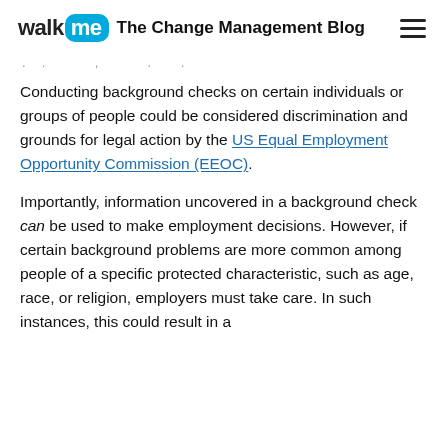walk me The Change Management Blog
. .   ,   . .
Conducting background checks on certain individuals or groups of people could be considered discrimination and grounds for legal action by the US Equal Employment Opportunity Commission (EEOC).
Importantly, information uncovered in a background check can be used to make employment decisions. However, if certain background problems are more common among people of a specific protected characteristic, such as age, race, or religion, employers must take care. In such instances, this could result in a